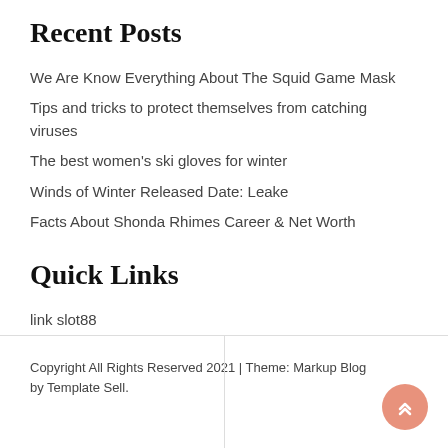Recent Posts
We Are Know Everything About The Squid Game Mask
Tips and tricks to protect themselves from catching viruses
The best women's ski gloves for winter
Winds of Winter Released Date: Leake
Facts About Shonda Rhimes Career & Net Worth
Quick Links
link slot88
Copyright All Rights Reserved 2021 | Theme: Markup Blog by Template Sell.